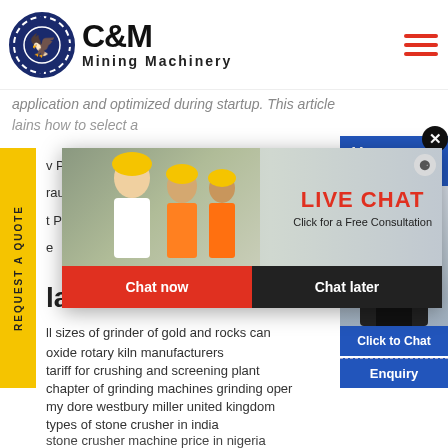[Figure (logo): C&M Mining Machinery logo with eagle in gear circle]
application and optimized during startup. This article lains how to select a
REQUEST A QUOTE
v Page:C
raulico V
t Page:H
e
[Figure (screenshot): Live Chat popup with workers image, LIVE CHAT text, Click for a Free Consultation, Chat now and Chat later buttons]
[Figure (photo): Right panel showing Hours Online banner and customer service representative with headset, Click to Chat and Enquiry buttons]
lated articles
ll sizes of grinder of gold and rocks can
oxide rotary kiln manufacturers
tariff for crushing and screening plant
chapter of grinding machines grinding oper
my dore westbury miller united kingdom
types of stone crusher in india
stone crusher machine price in nigeria